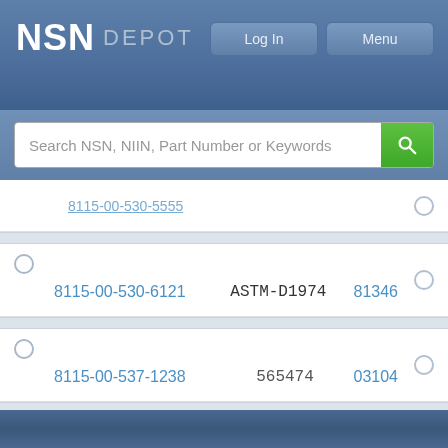NSN DEPOT
[Figure (screenshot): Search bar with placeholder text 'Search NSN, NIIN, Part Number or Keywords' and a green search button]
8115-00-530-5555 (truncated/partial row)
| NSN | Part Number | CAGE |
| --- | --- | --- |
| 8115-00-530-6121 | ASTM-D1974 | 81346 |
| 8115-00-537-1238 | 565474 | 03104 |